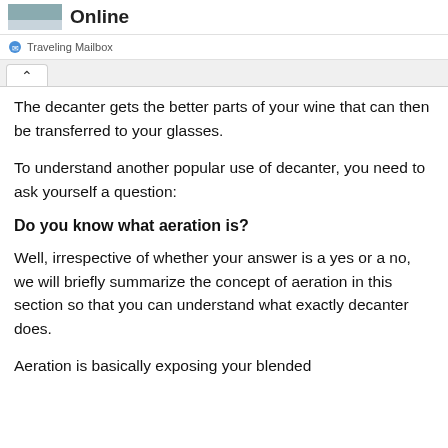Online
Traveling Mailbox
The decanter gets the better parts of your wine that can then be transferred to your glasses.
To understand another popular use of decanter, you need to ask yourself a question:
Do you know what aeration is?
Well, irrespective of whether your answer is a yes or a no, we will briefly summarize the concept of aeration in this section so that you can understand what exactly decanter does.
Aeration is basically exposing your blended